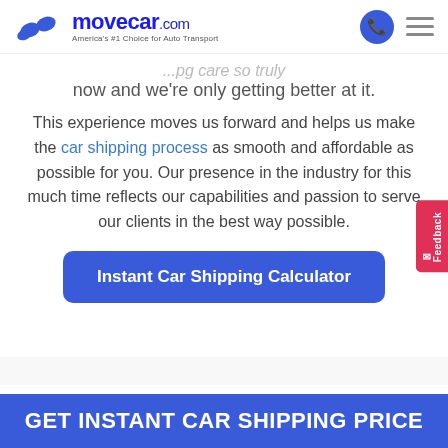[Figure (logo): MoveCar.com logo with car icon and tagline 'America's #1 Choice for Auto Transport']
now and we're only getting better at it.
This experience moves us forward and helps us make the car shipping process as smooth and affordable as possible for you. Our presence in the industry for this much time reflects our capabilities and passion to serve our clients in the best way possible.
Instant Car Shipping Calculator
Feedback
GET INSTANT CAR SHIPPING PRICE